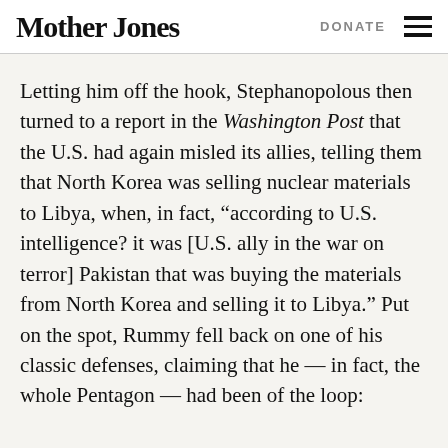Mother Jones  DONATE
Letting him off the hook, Stephanopolous then turned to a report in the Washington Post that the U.S. had again misled its allies, telling them that North Korea was selling nuclear materials to Libya, when, in fact, “according to U.S. intelligence? it was [U.S. ally in the war on terror] Pakistan that was buying the materials from North Korea and selling it to Libya.” Put on the spot, Rummy fell back on one of his classic defenses, claiming that he — in fact, the whole Pentagon — had been of the loop: